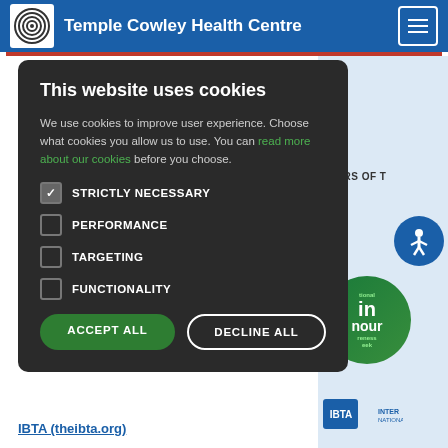Temple Cowley Health Centre
[Figure (screenshot): Cookie consent overlay on Temple Cowley Health Centre website. Dark modal with title 'This website uses cookies', body text, cookie category checkboxes (Strictly Necessary checked, Performance, Targeting, Functionality unchecked), and two buttons: ACCEPT ALL (green) and DECLINE ALL (outlined).]
This website uses cookies
We use cookies to improve user experience. Choose what cookies you allow us to use. You can read more about our cookies before you choose.
STRICTLY NECESSARY
PERFORMANCE
TARGETING
FUNCTIONALITY
IBTA (theibta.org)